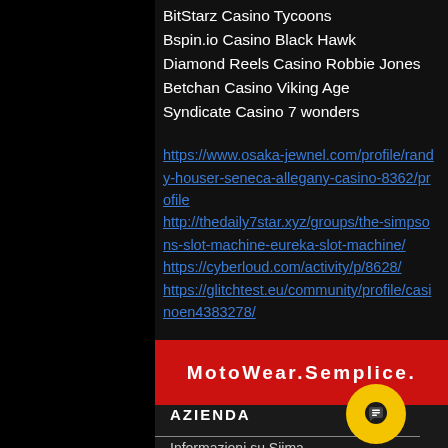BitStarz Casino Tycoons
Bspin.io Casino Black Hawk
Diamond Reels Casino Robbie Jones
Betchan Casino Viking Age
Syndicate Casino 7 wonders
https://www.osaka-jewnel.com/profile/randy-houser-seneca-allegany-casino-8362/profile http://thedaily7star.xyz/groups/the-simpsons-slot-machine-eureka-slot-machine/ https://cyberloud.com/activity/p/8628/ https://glitchtest.eu/community/profile/casinoen4383278/
MotoWear.Semplice.
AZIENDA
Informazioni su Siima